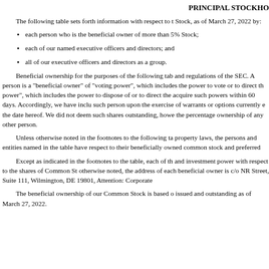PRINCIPAL STOCKHOL
The following table sets forth information with respect to the beneficial ownership of our Common Stock, as of March 27, 2022 by:
each person who is the beneficial owner of more than 5% of the outstanding shares of our Common Stock;
each of our named executive officers and directors; and
all of our executive officers and directors as a group.
Beneficial ownership for the purposes of the following table is determined in accordance with the rules and regulations of the SEC. A person is a "beneficial owner" of a security if that person has or shares "voting power", which includes the power to vote or to direct the voting of such security, or "investment power", which includes the power to dispose of or to direct the disposition of such security, or has the right to acquire such powers within 60 days. Accordingly, we have included in the table shares issuable to such person upon the exercise of warrants or options currently exercisable or exercisable within 60 days of the date hereof. We did not deem such shares outstanding, however, for the purpose of computing the percentage ownership of any other person.
Unless otherwise noted in the footnotes to the following table and subject to applicable community property laws, the persons and entities named in the table have sole voting and investment power with respect to their beneficially owned common stock and preferred stock.
Except as indicated in the footnotes to the table, each of the stockholders listed below has sole voting and investment power with respect to the shares of Common Stock beneficially owned by the stockholder. Unless otherwise noted, the address of each beneficial owner is c/o NRC Group Holdings Corp., 3711 Kennett Pike, Street, Suite 111, Wilmington, DE 19801, Attention: Corporate Secretary.
The beneficial ownership of our Common Stock is based on 27,569,595 shares of our Common Stock issued and outstanding as of March 27, 2022.